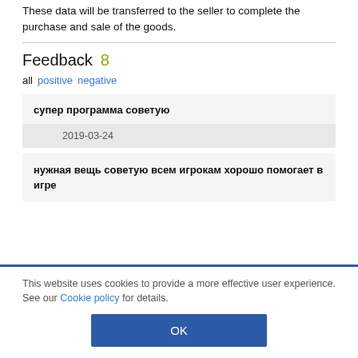These data will be transferred to the seller to complete the purchase and sale of the goods.
Feedback 8
all  positive  negative
супер программа советую
2019-03-24
нужная вещь советую всем игрокам хорошо помогает в игре
This website uses cookies to provide a more effective user experience. See our Cookie policy for details.